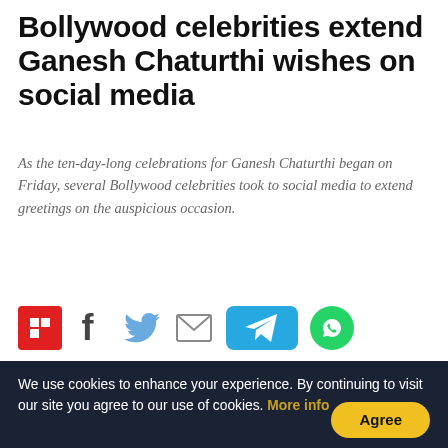Bollywood celebrities extend Ganesh Chaturthi wishes on social media
As the ten-day-long celebrations for Ganesh Chaturthi began on Friday, several Bollywood celebrities took to social media to extend greetings on the auspicious occasion.
[Figure (other): Social media share icons: Flipboard (red), Facebook (f), Twitter (bird), Email (envelope), Telegram (blue pill), WhatsApp (green circle)]
Published: 10th September 2021 02:35 PM  |  Last Updated: 10th September 2021 02:35 PM  🖨 |  A+ A  A-
[Figure (photo): Photo of a Bollywood celebrity at a Filmfare event, partially visible — dark hair, partial face visible, Filmfare logo visible in red text at bottom left and right]
We use cookies to enhance your experience. By continuing to visit our site you agree to our use of cookies. More info